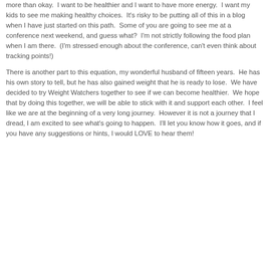more than okay.  I want to be healthier and I want to have more energy.  I want my kids to see me making healthy choices.  It's risky to be putting all of this in a blog when I have just started on this path.  Some of you are going to see me at a conference next weekend, and guess what?  I'm not strictly following the food plan when I am there.  (I'm stressed enough about the conference, can't even think about tracking points!)
There is another part to this equation, my wonderful husband of fifteen years.  He has his own story to tell, but he has also gained weight that he is ready to lose.  We have decided to try Weight Watchers together to see if we can become healthier.  We hope that by doing this together, we will be able to stick with it and support each other.  I feel like we are at the beginning of a very long journey.  However it is not a journey that I dread, I am excited to see what's going to happen.  I'll let you know how it goes, and if you have any suggestions or hints, I would LOVE to hear them!